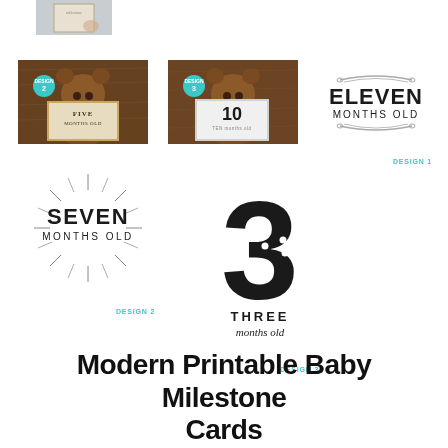[Figure (photo): Small cropped photo of baby holding a milestone card, top left]
[Figure (photo): Bear holding a sign saying FIVE MONTHS OLD with teal DESIGN 2 badge]
[Figure (photo): Bear holding a sign saying 10 TEN months old with teal DESIGN 3 badge]
[Figure (illustration): Elegant text design: ELEVEN MONTHS OLD with decorative scroll, labeled DESIGN 1]
DESIGN 1
[Figure (illustration): Vintage sunburst design: SEVEN MONTHS OLD, labeled DESIGN 2]
DESIGN 2
[Figure (illustration): Marquee number 3 with THREE months old text, labeled DESIGN 3]
DESIGN 3
Modern Printable Baby Milestone Cards